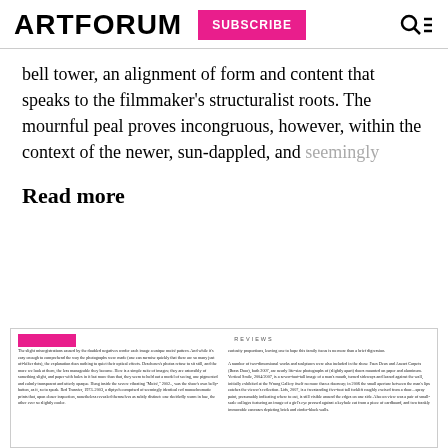ARTFORUM | SUBSCRIBE
bell tower, an alignment of form and content that speaks to the filmmaker's structuralist roots. The mournful peal proves incongruous, however, within the context of the newer, sun-dappled, and seemingly
Read more
[Figure (screenshot): Preview of an Artforum magazine page showing a REVIEWS section with two columns of small text describing artworks and exhibitions.]